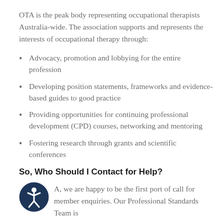OTA is the peak body representing occupational therapists Australia-wide. The association supports and represents the interests of occupational therapy through:
Advocacy, promotion and lobbying for the entire profession
Developing position statements, frameworks and evidence-based guides to good practice
Providing opportunities for continuing professional development (CPD) courses, networking and mentoring
Fostering research through grants and scientific conferences
So, Who Should I Contact for Help?
[Figure (logo): Circular dark navy icon with a white accessibility/person symbol inside]
A, we are happy to be the first port of call for member enquiries. Our Professional Standards Team is